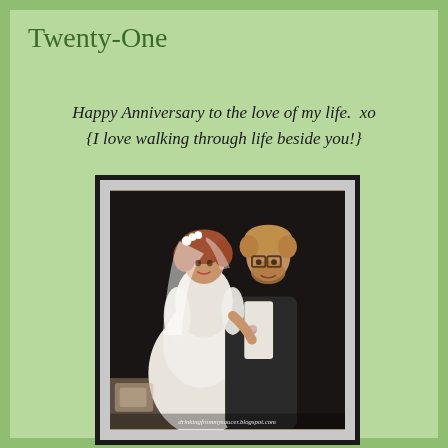Twenty-One
Happy Anniversary to the love of my life.  xo
{I love walking through life beside you!}
[Figure (photo): Wedding photo of a couple in formal attire — bride in white lace dress with veil, groom in dark suit with boutonniere — dancing or posing together. Vintage photo style. Watermark reads: drinkingfrommysaucer.blogspot.com]